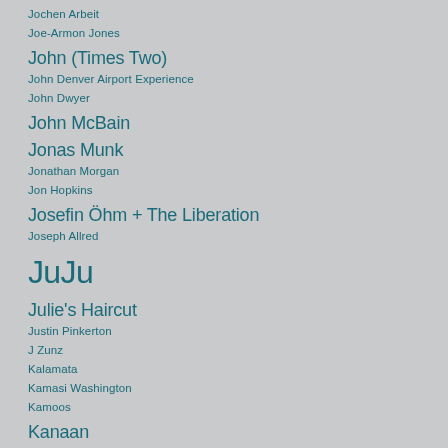Jochen Arbeit
Joe-Armon Jones
John (Times Two)
John Denver Airport Experience
John Dwyer
John McBain
Jonas Munk
Jonathan Morgan
Jon Hopkins
Josefin Öhm + The Liberation
Joseph Allred
JuJu
Julie's Haircut
Justin Pinkerton
J Zunz
Kalamata
Kamasi Washington
Kamoos
Kanaan
Kandodo
Kanoi